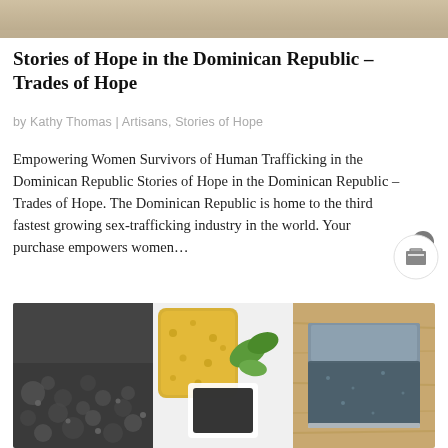[Figure (photo): Top partial banner image with beige/tan tones]
Stories of Hope in the Dominican Republic – Trades of Hope
by Kathy Thomas | Artisans, Stories of Hope
Empowering Women Survivors of Human Trafficking in the Dominican Republic Stories of Hope in the Dominican Republic – Trades of Hope. The Dominican Republic is home to the third fastest growing sex-trafficking industry in the world. Your purchase empowers women…
[Figure (photo): Three-panel collage showing handmade soap products: dark textured soap close-up on left, yellow sponge with dark soap bar in center, dark blue-grey soap bar on wood on right]